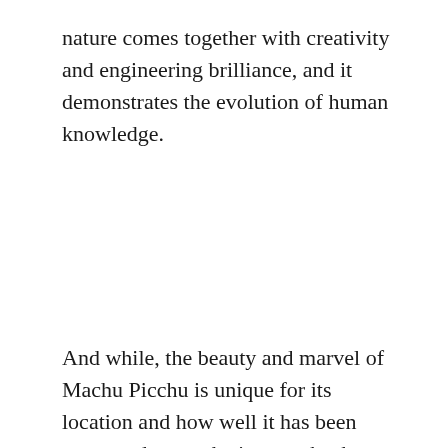nature comes together with creativity and engineering brilliance, and it demonstrates the evolution of human knowledge.
And while, the beauty and marvel of Machu Picchu is unique for its location and how well it has been preserved, even the journey back to